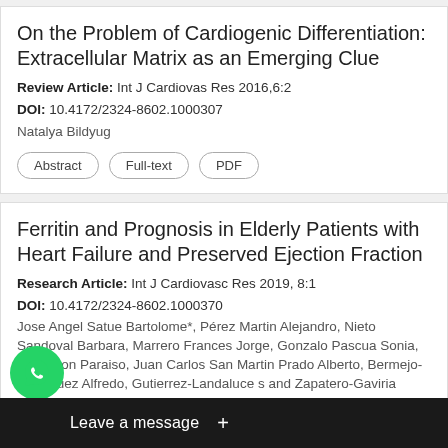On the Problem of Cardiogenic Differentiation: Extracellular Matrix as an Emerging Clue
Review Article: Int J Cardiovas Res 2016,6:2
DOI: 10.4172/2324-8602.1000307
Natalya Bildyug
Ferritin and Prognosis in Elderly Patients with Heart Failure and Preserved Ejection Fraction
Research Article: Int J Cardiovasc Res 2019, 8:1
DOI: 10.4172/2324-8602.1000370
Jose Angel Satue Bartolome*, Pérez Martin Alejandro, Nieto Sandoval Barbara, Marrero Frances Jorge, Gonzalo Pascua Sonia, Belinchon Paraiso, Juan Carlos San Martin Prado Alberto, Bermejo-Rodriguez Alfredo, Gutierrez-Landaluce s and Zapatero-Gaviria Antonio
Car